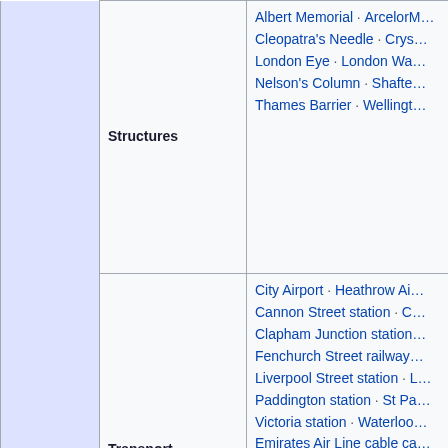| Category | Subcategory | Items |
| --- | --- | --- |
| (continued) | Structures | Albert Memorial · ArcelorMittal Orbit · Cleopatra's Needle · Crystal Palace · London Eye · London Wall · Nelson's Column · Shaftesbury Memorial Fountain · Thames Barrier · Wellington Arch |
| (continued) | Transport | City Airport · Heathrow Airport · Cannon Street station · Charing Cross station · Clapham Junction station · Fenchurch Street railway station · Liverpool Street station · London Bridge station · Paddington station · St Pancras station · Victoria station · Waterloo station · Emirates Air Line cable car |
| (continued) | Other | Barbican Estate · Battersea Power Station · BT Tower · Kew Gardens · Kew Palace · London Zoo · Oxo Tower · Smithfield Market · Somerset House |
| Parks | Royal Parks | Bushy Park · Green Park · Greenwich Park · Hampton Court Park · Hyde Park · Regent's Park · Richmond Park · St James's Park |
| Parks | Parks | Battersea Park · Burgess Park · ... |